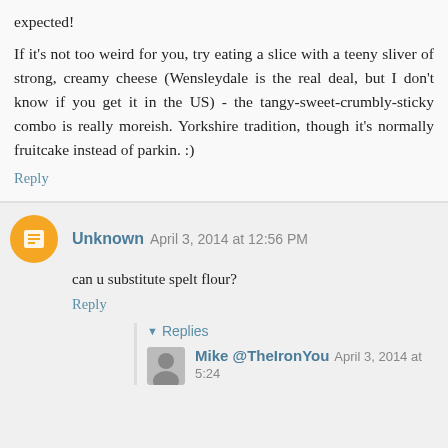expected!
If it's not too weird for you, try eating a slice with a teeny sliver of strong, creamy cheese (Wensleydale is the real deal, but I don't know if you get it in the US) - the tangy-sweet-crumbly-sticky combo is really moreish. Yorkshire tradition, though it's normally fruitcake instead of parkin. :)
Reply
Unknown  April 3, 2014 at 12:56 PM
can u substitute spelt flour?
Reply
Replies
Mike @TheIronYou  April 3, 2014 at 5:24